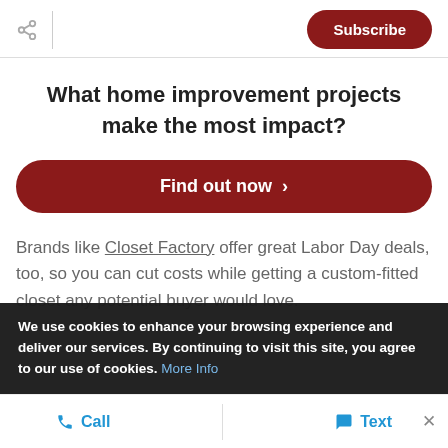Subscribe
What home improvement projects make the most impact?
Find out now >
Brands like Closet Factory offer great Labor Day deals, too, so you can cut costs while getting a custom-fitted closet any potential buyer would love.
We use cookies to enhance your browsing experience and deliver our services. By continuing to visit this site, you agree to our use of cookies. More Info
Call   Text